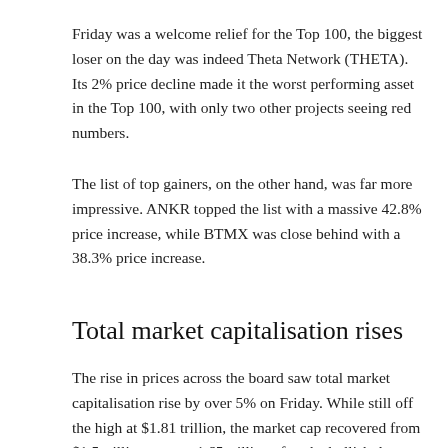Friday was a welcome relief for the Top 100, the biggest loser on the day was indeed Theta Network (THETA). Its 2% price decline made it the worst performing asset in the Top 100, with only two other projects seeing red numbers.
The list of top gainers, on the other hand, was far more impressive. ANKR topped the list with a massive 42.8% price increase, while BTMX was close behind with a 38.3% price increase.
Total market capitalisation rises
The rise in prices across the board saw total market capitalisation rise by over 5% on Friday. While still off the high at $1.81 trillion, the market cap recovered from $1.5 trillion to over 1.65 trillion after the bullish day.